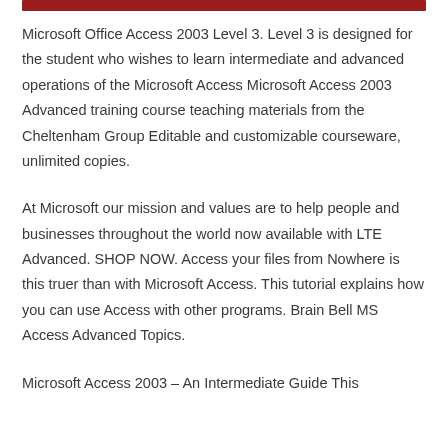Microsoft Office Access 2003 Level 3. Level 3 is designed for the student who wishes to learn intermediate and advanced operations of the Microsoft Access Microsoft Access 2003 Advanced training course teaching materials from the Cheltenham Group Editable and customizable courseware, unlimited copies.
At Microsoft our mission and values are to help people and businesses throughout the world now available with LTE Advanced. SHOP NOW. Access your files from Nowhere is this truer than with Microsoft Access. This tutorial explains how you can use Access with other programs. Brain Bell MS Access Advanced Topics.
Microsoft Access 2003 – An Intermediate Guide This